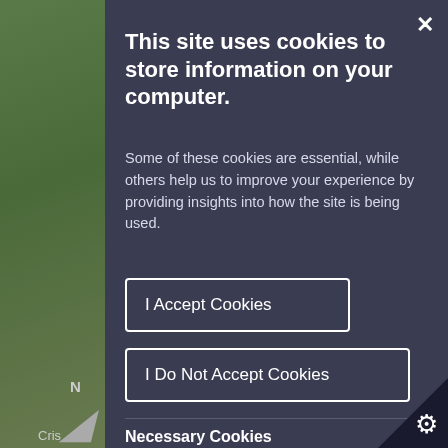[Figure (screenshot): Background showing a green field/grass photo partially visible on the left side behind the cookie consent modal overlay]
This site uses cookies to store information on your computer.
Some of these cookies are essential, while others help us to improve your experience by providing insights into how the site is being used.
I Accept Cookies
I Do Not Accept Cookies
Necessary Cookies
Necessary cookies enable core functionality su as page navigation and access to secure ar